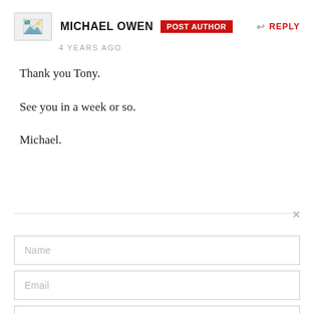[Figure (photo): Avatar image placeholder box with broken image icon]
MICHAEL OWEN POST AUTHOR ↩ REPLY
4 YEARS AGO
Thank you Tony.

See you in a week or so.

Michael.
×
Name
Email